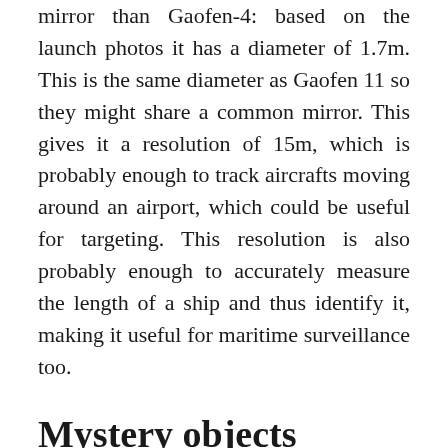mirror than Gaofen-4: based on the launch photos it has a diameter of 1.7m. This is the same diameter as Gaofen 11 so they might share a common mirror. This gives it a resolution of 15m, which is probably enough to track aircrafts moving around an airport, which could be useful for targeting. This resolution is also probably enough to accurately measure the length of a ship and thus identify it, making it useful for maritime surveillance too.
Mystery objects
Some other Chinese satellites seem to be in sun-synchronous orbit, suggesting Earth observation satellites and have suspiciously little